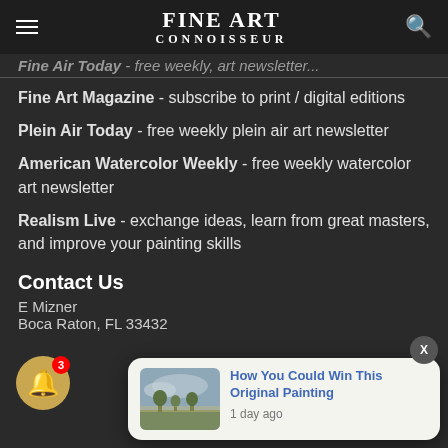FINE ART CONNOISSEUR
Fine Art Today - free weekly, art newsletter...
Fine Art Magazine - subscribe to print / digital editions
Plein Air Today - free weekly plein air art newsletter
American Watercolor Weekly - free weekly watercolor art newsletter
Realism Live - exchange ideas, learn from great masters, and improve your painting skills
Contact Us
E Mizner
Boca Raton, FL 33432
[Figure (screenshot): Notification popup with a landscape painting thumbnail and the text 'How You Could Win This Original Painting, 1 day ago']